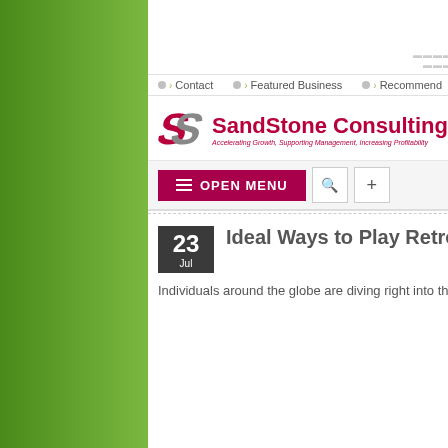ℹ Refine your Business
📞 + 1 868 682-9202
✉ admin@sandstonett.com
> Contact
> Featured Business
> Recommend
> Media
[Figure (logo): SandStone Consulting logo with stylized S and tagline: Accelerating Growth, Supporting Management, Increasing Profitability]
OPEN MENU
Ideal Ways to Play Retro Video Clip Games in 2021
Individuals around the globe are diving right into their new